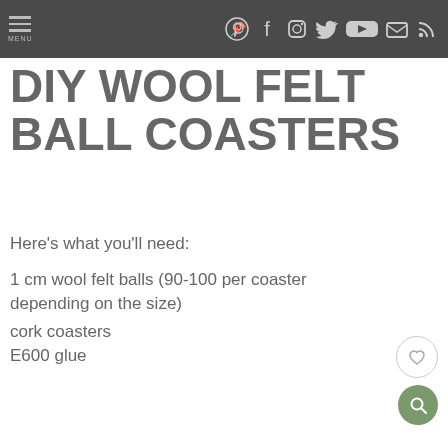MENU | Pinterest Facebook Instagram Twitter YouTube Email RSS
DIY WOOL FELT BALL COASTERS
Here's what you'll need:
1 cm wool felt balls (90-100 per coaster depending on the size)
cork coasters
E600 glue